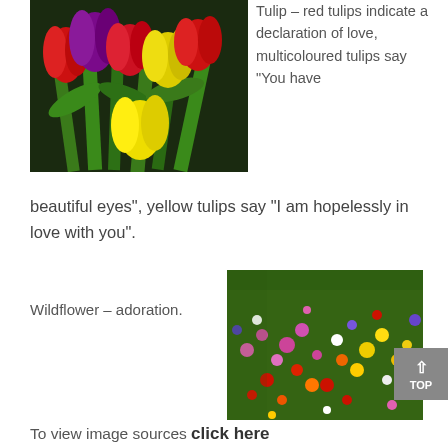[Figure (photo): Colorful tulips in red, purple/magenta, and yellow against a dark green background]
Tulip – red tulips indicate a declaration of love, multicoloured tulips say “You have beautiful eyes”, yellow tulips say “I am hopelessly in love with you”.
[Figure (photo): A field of mixed wildflowers in many colors including pink, yellow, red, purple, and white]
Wildflower – adoration.
To view image sources click here